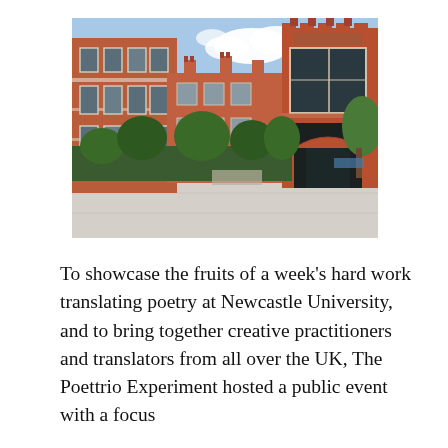[Figure (photo): Exterior photograph of Newcastle University campus buildings in red brick Victorian Gothic style, with a hedge in the foreground, trees, a courtyard, and a blue sky with clouds.]
To showcase the fruits of a week's hard work translating poetry at Newcastle University, and to bring together creative practitioners and translators from all over the UK, The Poettrio Experiment hosted a public event with a focus